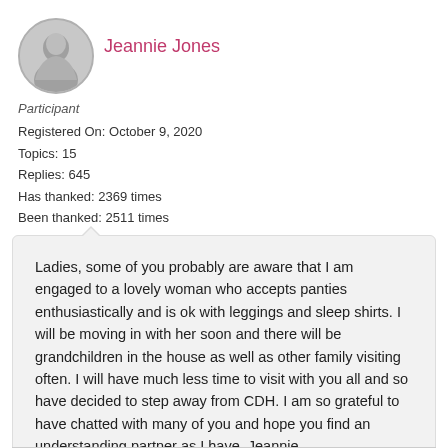[Figure (illustration): Circular avatar image of a female silhouette in gray tones]
Jeannie Jones
Participant
Registered On: October 9, 2020
Topics: 15
Replies: 645
Has thanked: 2369 times
Been thanked: 2511 times
Ladies, some of you probably are aware that I am engaged to a lovely woman who accepts panties enthusiastically and is ok with leggings and sleep shirts. I will be moving in with her soon and there will be grandchildren in the house as well as other family visiting often. I will have much less time to visit with you all and so have decided to step away from CDH. I am so grateful to have chatted with many of you and hope you find an understanding partner as I have. Jeannie